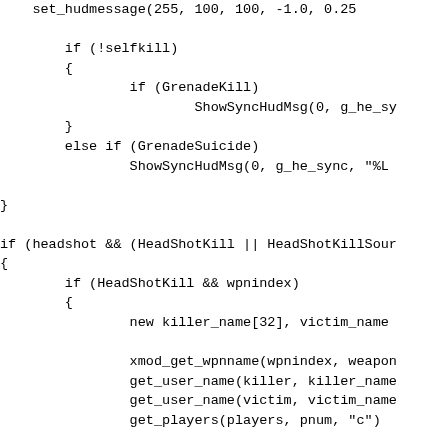Code snippet showing AmxModX/Pawn script with hudmessage, grenade kill, grenade suicide, headshot kill logic including variable declarations, xmod_get_wpnname, get_user_name, get_players, for loop with format and replace calls.